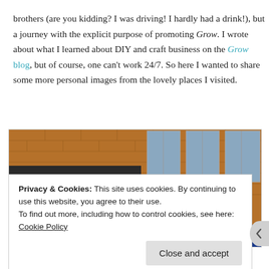brothers (are you kidding? I was driving! I hardly had a drink!), but a journey with the explicit purpose of promoting Grow. I wrote about what I learned about DIY and craft business on the Grow blog, but of course, one can't work 24/7. So here I wanted to share some more personal images from the lovely places I visited.
[Figure (photo): Photograph of a building facade with a red 'DRINK' sign and a blue sign below it, brick wall and windows visible.]
Privacy & Cookies: This site uses cookies. By continuing to use this website, you agree to their use.
To find out more, including how to control cookies, see here: Cookie Policy
Close and accept